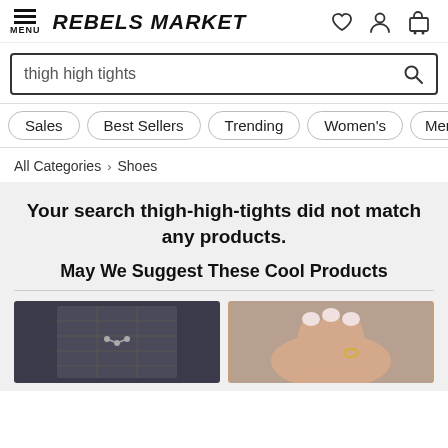MENU | REBELS MARKET
thigh high tights
Sales
Best Sellers
Trending
Women's
Men's
All Categories > Shoes
Your search thigh-high-tights did not match any products.
May We Suggest These Cool Products
[Figure (photo): Product thumbnail: dark plaid skirt with chains and metal hardware]
[Figure (photo): Product thumbnail: close-up of hand with painted nails holding a small object]